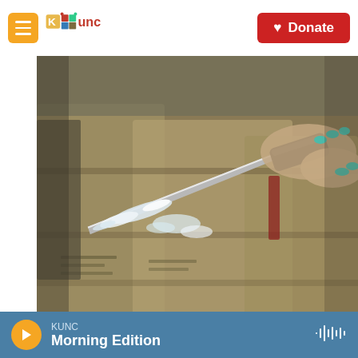KUNC — Donate
[Figure (photo): A hand with teal-painted nails holds a knife with white crystalline substance on the blade, over burlap sacks. Drug lab dismantling scene.]
/ Rashide Frias/AFP/Getty Images  /  Rashide Frias/AFP/Getty Images
A Sinaloa state police officer works during the dismantling of one of three clandestine laboratories that were producing synthetic drugs, mainly methamphetamine, in Eldorado, Mexico.